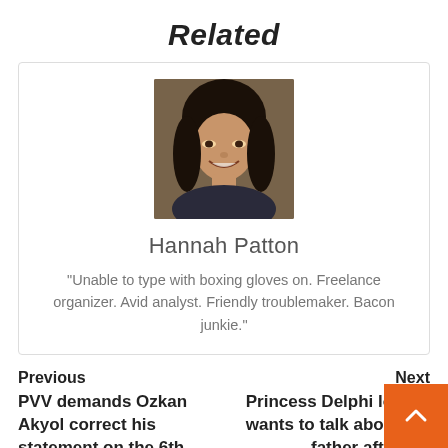Related
[Figure (photo): Portrait photo of Hannah Patton, a young woman with dark hair, smiling]
Hannah Patton
“Unable to type with boxing gloves on. Freelance organizer. Avid analyst. Friendly troublemaker. Bacon junkie.”
Previous
PVV demands Ozkan Akyol correct his statement on the 6th today, columnist
Next
Princess Delphi longer wants to talk about the father after the